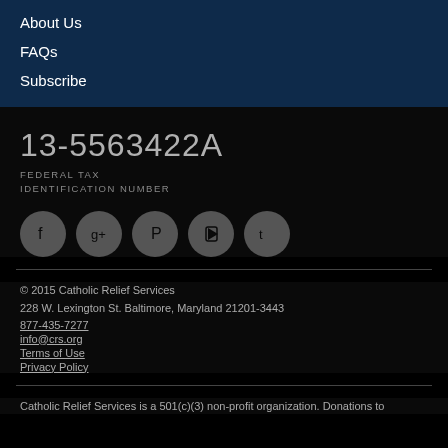About Us
FAQs
Subscribe
13-5563422A
FEDERAL TAX IDENTIFICATION NUMBER
[Figure (other): Social media icons: Facebook, Google+, Pinterest, YouTube, Twitter]
© 2015 Catholic Relief Services
228 W. Lexington St. Baltimore, Maryland 21201-3443
877-435-7277
info@crs.org
Terms of Use
Privacy Policy
Catholic Relief Services is a 501(c)(3) non-profit organization. Donations to